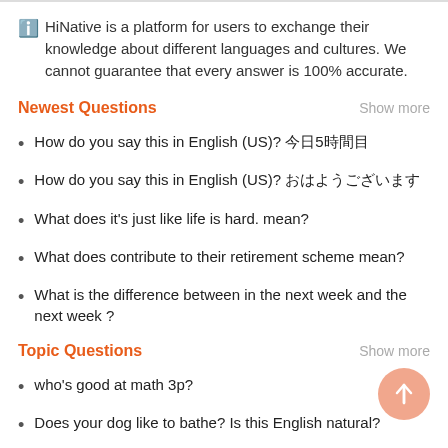ℹ HiNative is a platform for users to exchange their knowledge about different languages and cultures. We cannot guarantee that every answer is 100% accurate.
Newest Questions
How do you say this in English (US)? 今日5時間目
How do you say this in English (US)? おはようございます
What does it's just like life is hard. mean?
What does contribute to their retirement scheme mean?
What is the difference between in the next week and the next week ?
Topic Questions
who's good at math 3p?
Does your dog like to bathe? Is this English natural?